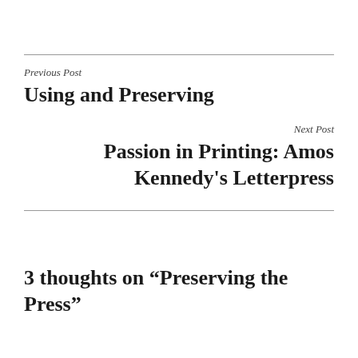Previous Post
Using and Preserving
Next Post
Passion in Printing: Amos Kennedy’s Letterpress
3 thoughts on “Preserving the Press”